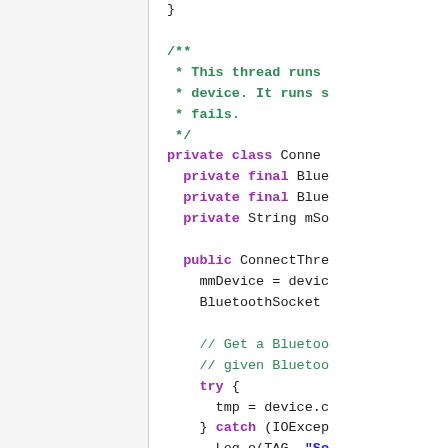[Figure (screenshot): Source code snippet showing Java Bluetooth ConnectThread class with syntax highlighting. Left panel is a blank file explorer/sidebar. Right panel shows code including a closing brace, Javadoc comment, private class declaration with fields and constructor body.]